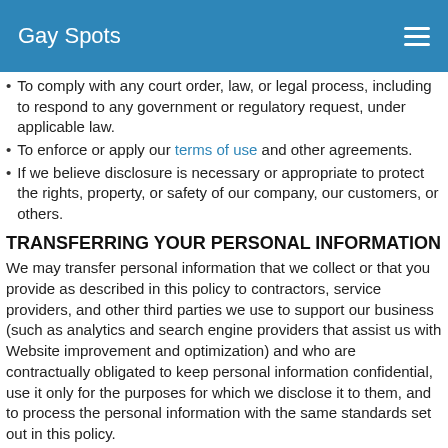Gay Spots
To comply with any court order, law, or legal process, including to respond to any government or regulatory request, under applicable law.
To enforce or apply our terms of use and other agreements.
If we believe disclosure is necessary or appropriate to protect the rights, property, or safety of our company, our customers, or others.
TRANSFERRING YOUR PERSONAL INFORMATION
We may transfer personal information that we collect or that you provide as described in this policy to contractors, service providers, and other third parties we use to support our business (such as analytics and search engine providers that assist us with Website improvement and optimization) and who are contractually obligated to keep personal information confidential, use it only for the purposes for which we disclose it to them, and to process the personal information with the same standards set out in this policy.
We may process, store, and transfer your personal information in and to a foreign country, with different privacy laws that may or may not be as comprehensive as Canadian law. In these circumstances, the